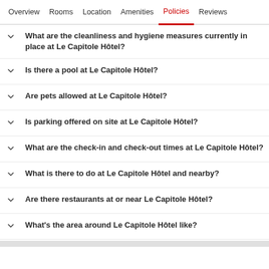Overview  Rooms  Location  Amenities  Policies  Reviews
What are the cleanliness and hygiene measures currently in place at Le Capitole Hôtel?
Is there a pool at Le Capitole Hôtel?
Are pets allowed at Le Capitole Hôtel?
Is parking offered on site at Le Capitole Hôtel?
What are the check-in and check-out times at Le Capitole Hôtel?
What is there to do at Le Capitole Hôtel and nearby?
Are there restaurants at or near Le Capitole Hôtel?
What's the area around Le Capitole Hôtel like?